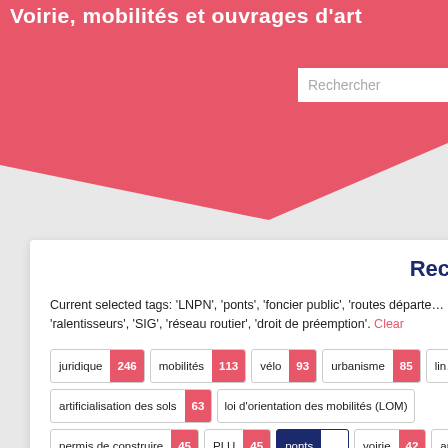Voirie, mobilités et ouvrages d'art
[Figure (screenshot): Search input box labeled 'Rechercher']
Recherch…
Current selected tags: 'LNPN', 'ponts', 'foncier public', 'routes départe… 'ralentisseurs', 'SIG', 'réseau routier', 'droit de préemption'. Clear
juridique 246
mobilités 113
vélo 93
urbanisme 85
artificialisation des sols 63
loi d'orientation des mobilités (LOM)
permis de construire 45
PLU 45
ponts (active/selected)
voirie 42